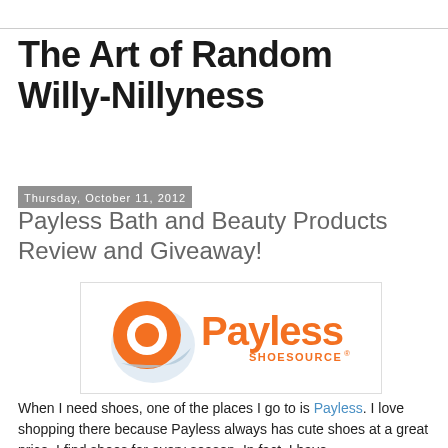The Art of Random Willy-Nillyness
Thursday, October 11, 2012
Payless Bath and Beauty Products Review and Giveaway!
[Figure (logo): Payless ShoeSource logo with orange circular P icon and blue swirl, orange text 'Payless' and smaller orange text 'SHOESOURCE' with registered trademark symbol]
When I need shoes, one of the places I go to is Payless. I love shopping there because Payless always has cute shoes at a great price. I find shoes for every season. In fact, I have